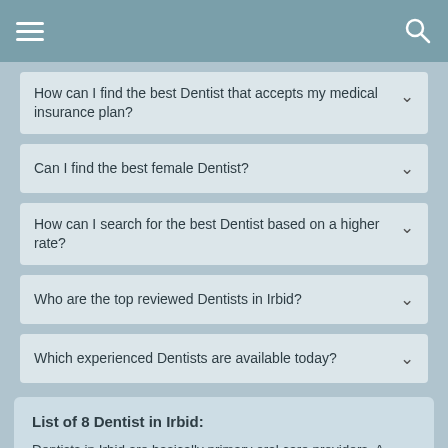How can I find the best Dentist that accepts my medical insurance plan?
Can I find the best female Dentist?
How can I search for the best Dentist based on a higher rate?
Who are the top reviewed Dentists in Irbid?
Which experienced Dentists are available today?
List of 8 Dentist in Irbid:
Dentists in Irbid are basically primary oral care providers. A Dental Specialist diagnoses and provides curative medical treatment for all your dental care needs, which includes root